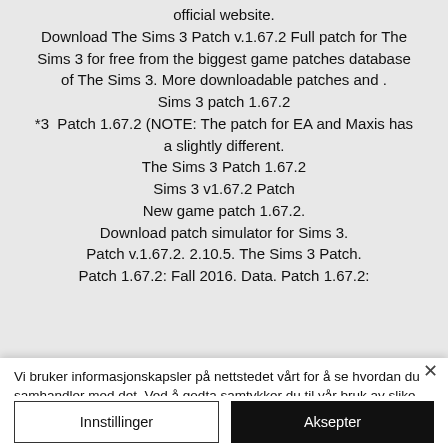official website.
Download The Sims 3 Patch v.1.67.2 Full patch for The Sims 3 for free from the biggest game patches database of The Sims 3. More downloadable patches and .
Sims 3 patch 1.67.2
*3  Patch 1.67.2 (NOTE: The patch for EA and Maxis has a slightly different.
The Sims 3 Patch 1.67.2
Sims 3 v1.67.2 Patch
New game patch 1.67.2.
Download patch simulator for Sims 3.
Patch v.1.67.2. 2.10.5. The Sims 3 Patch.
Patch 1.67.2: Fall 2016. Data. Patch 1.67.2:
Vi bruker informasjonskapsler på nettstedet vårt for å se hvordan du samhandler med det. Ved å godta samtykker du til vår bruk av slike informasjonskapsler. Personvernerklæring
Innstillinger
Aksepter